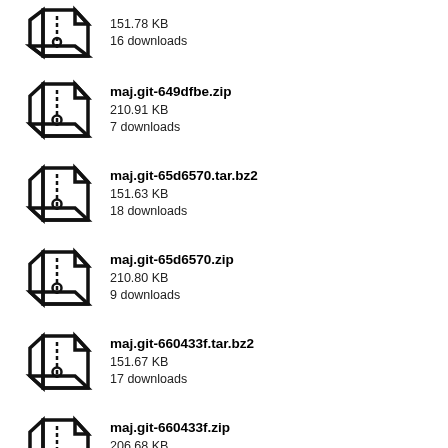151.78 KB
16 downloads
maj.git-649dfbe.zip
210.91 KB
7 downloads
maj.git-65d6570.tar.bz2
151.63 KB
18 downloads
maj.git-65d6570.zip
210.80 KB
9 downloads
maj.git-660433f.tar.bz2
151.67 KB
17 downloads
maj.git-660433f.zip
206.68 KB
8 downloads
home  top  login
37,298 views  2,781 rss  2,594 map  1 cookie